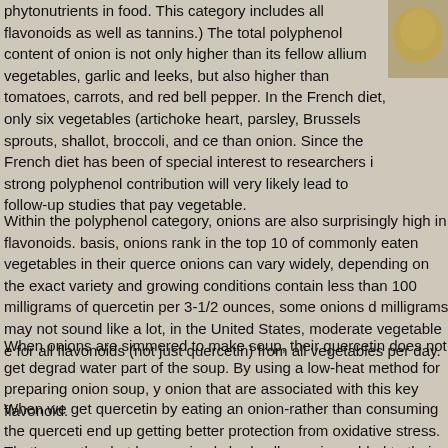phytonutrients in food. This category includes all flavonoids as well as tannins.) The total polyphenol content of onion is not only higher than its fellow allium vegetables, garlic and leeks, but also higher than tomatoes, carrots, and red bell pepper. In the French diet, only six vegetables (artichoke heart, parsley, Brussels sprouts, shallot, broccoli, and ce than onion. Since the French diet has been of special interest to researchers i strong polyphenol contribution will very likely lead to follow-up studies that pay vegetable.
Within the polyphenol category, onions are also surprisingly high in flavonoids. basis, onions rank in the top 10 of commonly eaten vegetables in their querce onions can vary widely, depending on the exact variety and growing conditions contain less than 100 milligrams of quercetin per 3-1/2 ounces, some onions d milligrams may not sound like a lot, in the United States, moderate vegetable e for all flavonoids (not just quercetin) from all vegetables per day.
When onions are simmered to make soup, their quercetin does not get degrad water part of the soup. By using a low-heat method for preparing onion soup, y onion that are associated with this key flavonoid.
When we get quercetin by eating an onion-rather than consuming the querceti end up getting better protection from oxidative stress. That's exactly what happ animals had yellow onion added to their diet in a way that would provide the sa other animals in the form of purified quercetin extracts. The best protection car flavonoid, rather than the supplement form.
[Figure (photo): Photo of onion or related food in upper right corner, partially visible]